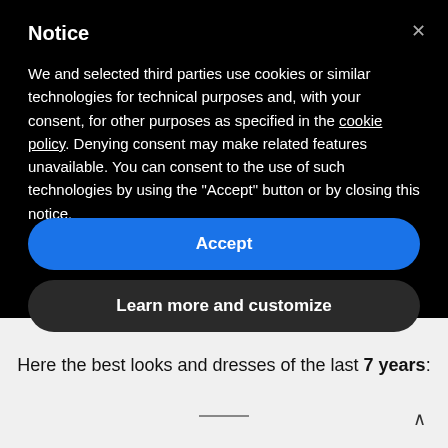Notice
We and selected third parties use cookies or similar technologies for technical purposes and, with your consent, for other purposes as specified in the cookie policy. Denying consent may make related features unavailable. You can consent to the use of such technologies by using the "Accept" button or by closing this notice.
Accept
Learn more and customize
Here the best looks and dresses of the last 7 years: